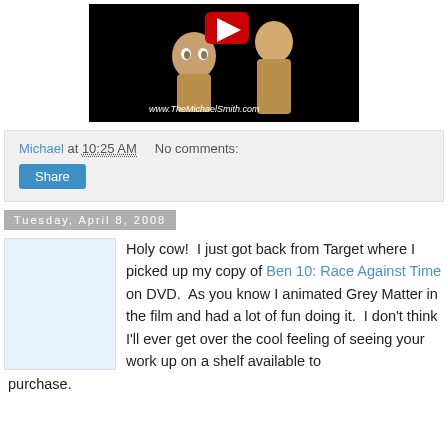[Figure (screenshot): Video thumbnail showing animated characters (clay/3D style) on black background with YouTube play button icon and text 'www.TheMichaelSmith.com']
Michael at 10:25 AM   No comments:
Share
Tuesday, April 8, 2008
Holy cow!  I just got back from Target where I picked up my copy of Ben 10: Race Against Time on DVD.  As you know I animated Grey Matter in the film and had a lot of fun doing it.  I don't think I'll ever get over the cool feeling of seeing your work up on a shelf available to purchase.